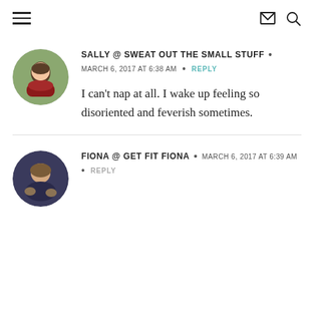Navigation header with hamburger menu, mail icon, and search icon
SALLY @ SWEAT OUT THE SMALL STUFF • MARCH 6, 2017 AT 6:38 AM • REPLY
I can't nap at all. I wake up feeling so disoriented and feverish sometimes.
FIONA @ GET FIT FIONA • MARCH 6, 2017 AT 6:39 AM • REPLY